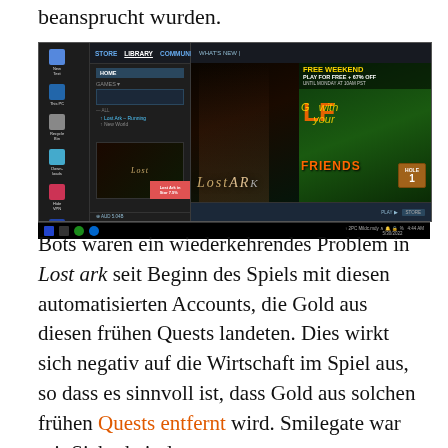beansprucht wurden.
[Figure (screenshot): Screenshot of the Steam client showing Lost Ark in the library, with a 'FREE WEEKEND PLAY FOR FREE + 67% OFF UNTIL MONDAY AT 10AM PST' banner visible, alongside a golf game advertisement 'GOLF with your FRIENDS HOLE 1'.]
Bots waren ein wiederkehrendes Problem in Lost ark seit Beginn des Spiels mit diesen automatisierten Accounts, die Gold aus diesen frühen Quests landeten. Dies wirkt sich negativ auf die Wirtschaft im Spiel aus, so dass es sinnvoll ist, dass Gold aus solchen frühen Quests entfernt wird. Smilegate war mit Sicherheit den